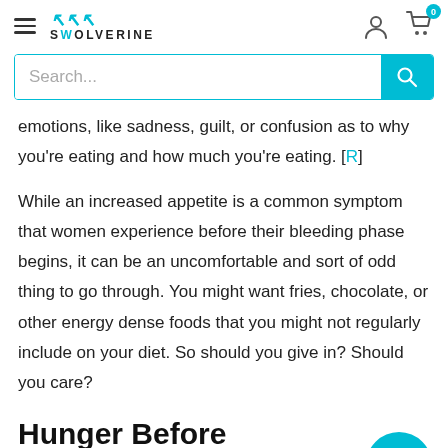SWOLVERINE
emotions, like sadness, guilt, or confusion as to why you're eating and how much you're eating. [R]
While an increased appetite is a common symptom that women experience before their bleeding phase begins, it can be an uncomfortable and sort of odd thing to go through. You might want fries, chocolate, or other energy dense foods that you might not regularly include on your diet. So should you give in? Should you care?
Hunger Before Period – Is It Normal?